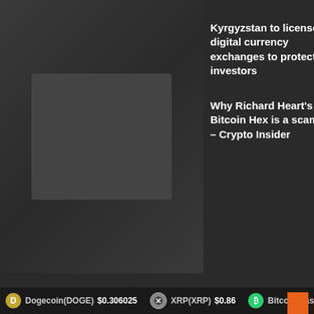[Figure (photo): Dark background area with a faint image thumbnail on the left side]
Kyrgyzstan to license digital currency exchanges to protect investors
Why Richard Heart's Bitcoin Hex is a scam – Crypto Insider
RECENT POSTS
Dogecoin(DOGE) $0.306025    XRP(XRP) $0.86    Bitcoin Cash